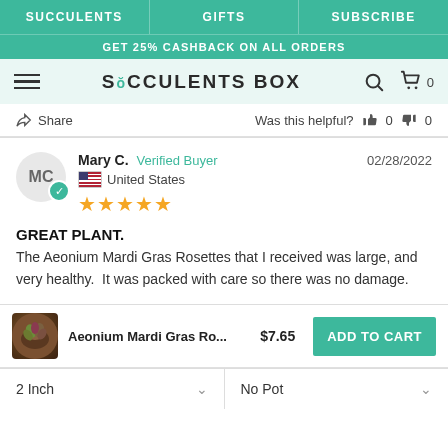SUCCULENTS | GIFTS | SUBSCRIBE
GET 25% CASHBACK ON ALL ORDERS
SUCCULENTS BOX
Share  Was this helpful?  👍 0  👎 0
Mary C.  Verified Buyer  02/28/2022  United States  ★★★★★
GREAT PLANT.
The Aeonium Mardi Gras Rosettes that I received was large, and very healthy.  It was packed with care so there was no damage.
Aeonium Mardi Gras Ro...  $7.65  ADD TO CART
2 Inch  ∨  No Pot  ∨